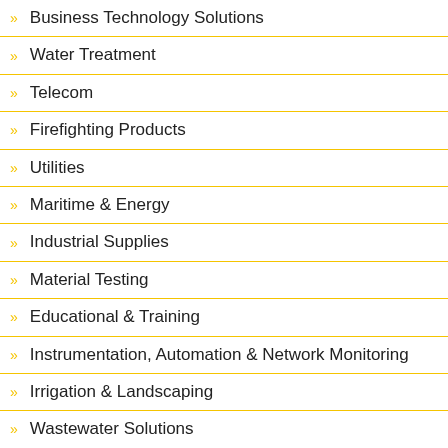Business Technology Solutions
Water Treatment
Telecom
Firefighting Products
Utilities
Maritime & Energy
Industrial Supplies
Material Testing
Educational & Training
Instrumentation, Automation & Network Monitoring
Irrigation & Landscaping
Wastewater Solutions
Electrical